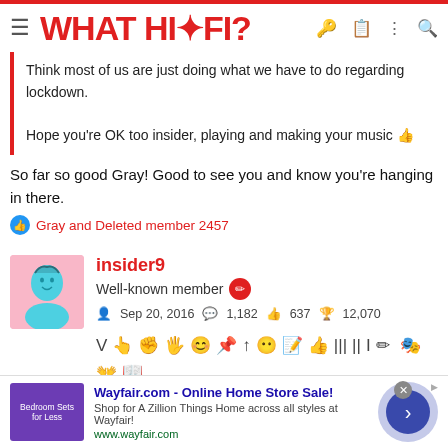WHAT HI·FI?
Think most of us are just doing what we have to do regarding lockdown.
Hope you're OK too insider, playing and making your music 👍
So far so good Gray! Good to see you and know you're hanging in there.
Gray and Deleted member 2457
insider9
Well-known member
Sep 20, 2016   1,182   637   12,070
[Figure (screenshot): Wayfair.com advertisement banner - Online Home Store Sale!]